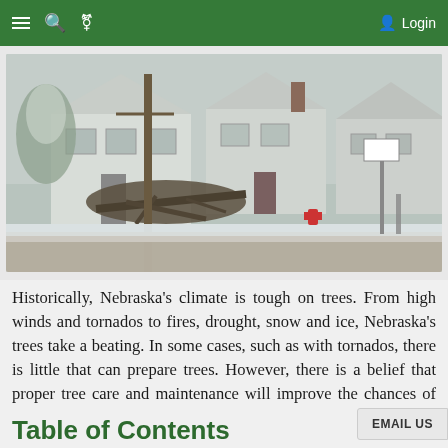≡ 🔍 ⋮ Login
[Figure (photo): Street scene in winter showing a house with snow on the ground and fallen tree branches after an ice storm in Nebraska]
Historically, Nebraska's climate is tough on trees. From high winds and tornados to fires, drought, snow and ice, Nebraska's trees take a beating. In some cases, such as with tornados, there is little that can prepare trees. However, there is a belief that proper tree care and maintenance will improve the chances of trees weathering snow and ice storms.
Table of Contents